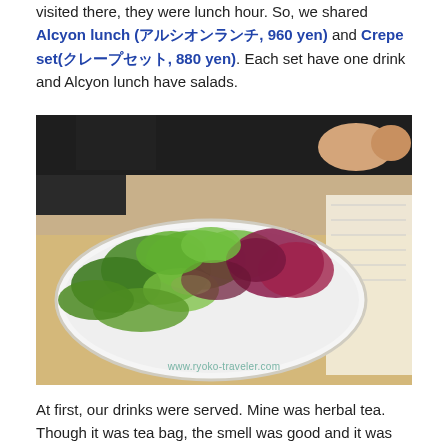visited there, they were lunch hour. So, we shared Alcyon lunch (アルシオンランチ, 960 yen) and Crepe set(クレープセット, 880 yen). Each set have one drink and Alcyon lunch have salads.
[Figure (photo): A white oval plate filled with a fresh mixed green salad including green and purple/red lettuce leaves. The plate is on a light wooden table with a menu visible at the right edge. A person in a dark shirt is visible in the background. Watermark: www.ryoko-traveler.com]
At first, our drinks were served. Mine was herbal tea. Though it was tea bag, the smell was good and it was